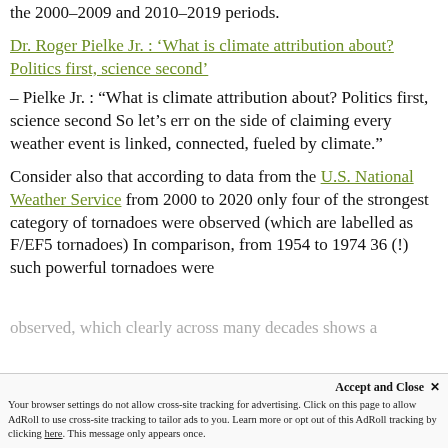the 2000–2009 and 2010–2019 periods.
Dr. Roger Pielke Jr. : 'What is climate attribution about? Politics first, science second' – Pielke Jr. : "What is climate attribution about? Politics first, science second So let's err on the side of claiming every weather event is linked, connected, fueled by climate."
Consider also that according to data from the U.S. National Weather Service from 2000 to 2020 only four of the strongest category of tornadoes were observed (which are labelled as F/EF5 tornadoes) In comparison, from 1954 to 1974 36 (!) such powerful tornadoes were
Accept and Close ✕
Your browser settings do not allow cross-site tracking for advertising. Click on this page to allow AdRoll to use cross-site tracking to tailor ads to you. Learn more or opt out of this AdRoll tracking by clicking here. This message only appears once.